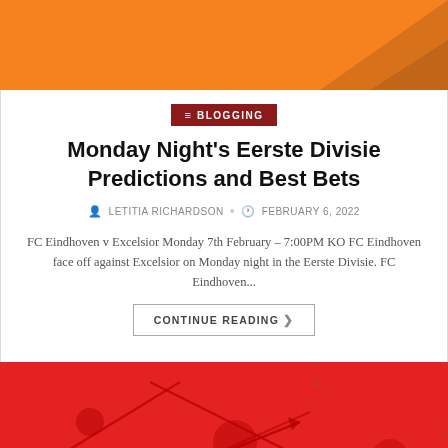[Figure (illustration): Orange banner with darker diagonal arrow pattern at bottom right]
BLOGGING
Monday Night's Eerste Divisie Predictions and Best Bets
LETITIA RICHARDSON • FEBRUARY 6, 2022
FC Eindhoven v Excelsior Monday 7th February – 7:00PM KO FC Eindhoven face off against Excelsior on Monday night in the Eerste Divisie. FC Eindhoven...
CONTINUE READING ❯
[Figure (illustration): Red banner with tactical football diagram lines, England flag emoji in center, and partial white championship text at bottom]